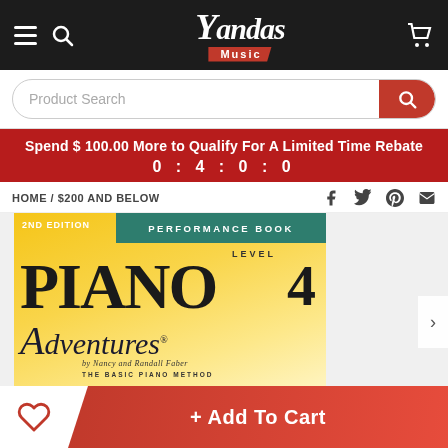Yandas Music — navigation bar with hamburger menu, search icon, logo, and cart
Product Search
Spend $ 100.00 More to Qualify For A Limited Time Rebate 0 : 4 : 0 : 0
HOME / $200 AND BELOW
[Figure (photo): Piano Adventures 2nd Edition Level 4 Performance Book cover by Nancy and Randall Faber — The Basic Piano Method]
136 Visitor Right Now
+ Add To Cart